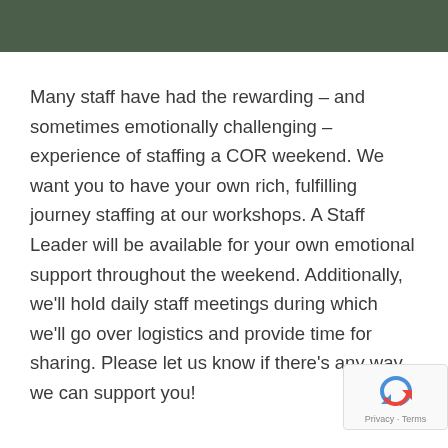Many staff have had the rewarding – and sometimes emotionally challenging – experience of staffing a COR weekend. We want you to have your own rich, fulfilling journey staffing at our workshops. A Staff Leader will be available for your own emotional support throughout the weekend. Additionally, we'll hold daily staff meetings during which we'll go over logistics and provide time for sharing. Please let us know if there's any way we can support you!